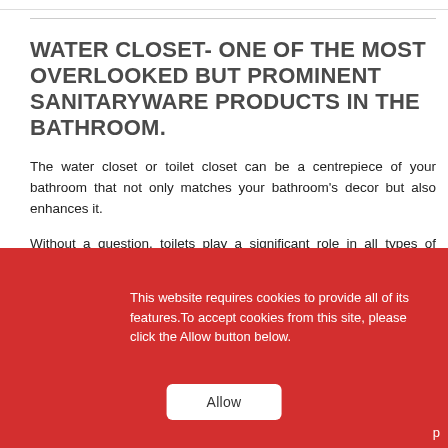WATER CLOSET- ONE OF THE MOST OVERLOOKED BUT PROMINENT SANITARYWARE PRODUCTS IN THE BATHROOM.
The water closet or toilet closet can be a centrepiece of your bathroom that not only matches your bathroom's decor but also enhances it.
Without a question, toilets play a significant role in all types of buildings, whether residential or commercial. Bathroom commodes or toilets or water closets, on the other hand, aren't a priority for many houses or business owners, and they'll settle for the ordinary. When it comes to toilets, they are going to be used for the next 15-20 years, so one should be extra cautious while selecting one. A water closet may be used for [text continues behind overlay]
This website requires cookies to provide all of its features.To accept cookies from this site, please click the Allow button below.